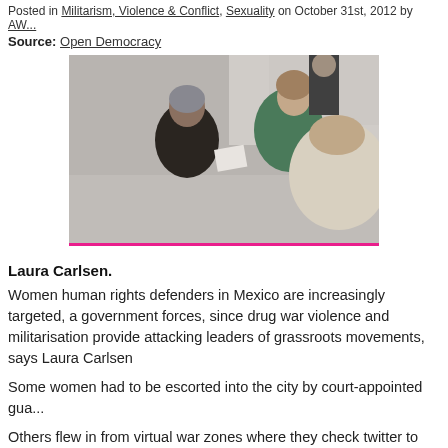Posted in Militarism, Violence & Conflict, Sexuality on October 31st, 2012 by AW...
Source: Open Democracy
[Figure (photo): Three women talking and exchanging papers in what appears to be a conference or public building lobby. One woman in dark clothing with jewelry faces another woman in a green shawl, while a third woman with curly hair sits with her back to the camera.]
Laura Carlsen.
Women human rights defenders in Mexico are increasingly targeted, a government forces, since drug war violence and militarisation provide attacking leaders of grassroots movements, says Laura Carlsen
Some women had to be escorted into the city by court-appointed gua...
Others flew in from virtual war zones where they check twitter to find out if it is safe to leave the house.
Many spend their days searching for kidnapped relatives or friends, o...